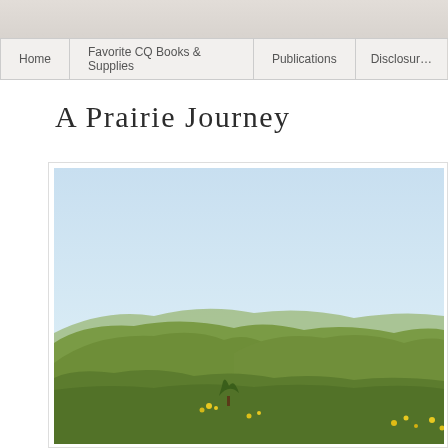Home | Favorite CQ Books & Supplies | Publications | Disclosure
A Prairie Journey
[Figure (photo): Photograph of rolling green prairie hills under a pale blue sky, with yellow wildflowers visible in the foreground and gently undulating grassy hillsides extending to the horizon.]